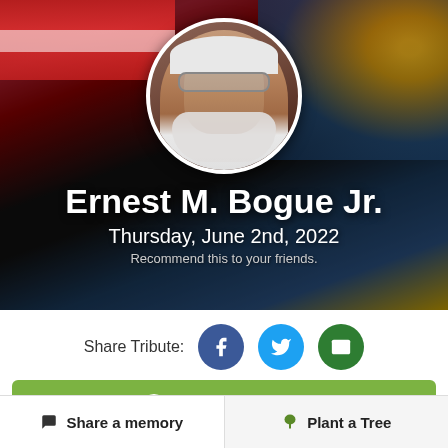[Figure (photo): Obituary tribute page for Ernest M. Bogue Jr. showing an American flag and bald eagle background with a circular profile photo of an elderly man with white hair and beard, wearing glasses.]
Ernest M. Bogue Jr.
Thursday, June 2nd, 2022
Recommend this to your friends.
Share Tribute:
Plant a Tree
Share a memory
Plant a Tree